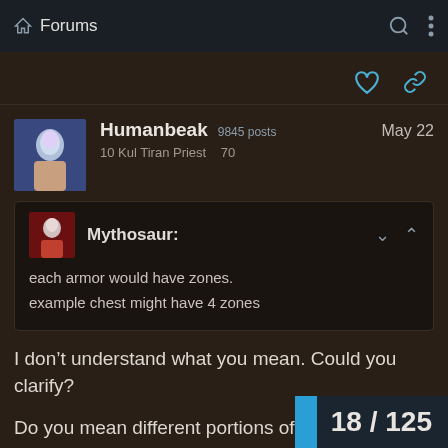Forums
[Figure (screenshot): Heart and link action icons in blue]
Humanbeak  9845 posts  10 Kul Tiran Priest  70  May 22
Mythosaur:
each armor would have zones.
example chest might have 4 zones
I don't understand what you mean. Could you clarify?
Do you mean different portions of
18 / 125